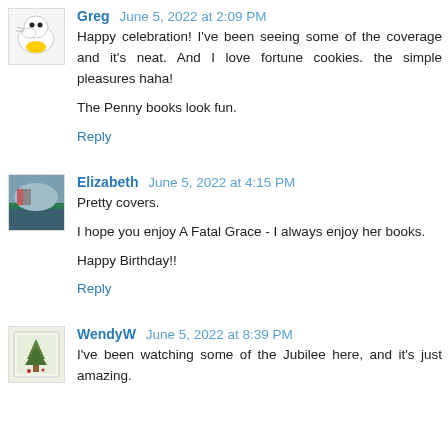Greg  June 5, 2022 at 2:09 PM
Happy celebration! I've been seeing some of the coverage and it's neat. And I love fortune cookies. the simple pleasures haha!

The Penny books look fun.
Reply
Elizabeth  June 5, 2022 at 4:15 PM
Pretty covers.

I hope you enjoy A Fatal Grace - I always enjoy her books.

Happy Birthday!!
Reply
WendyW  June 5, 2022 at 8:39 PM
I've been watching some of the Jubilee here, and it's just amazing.